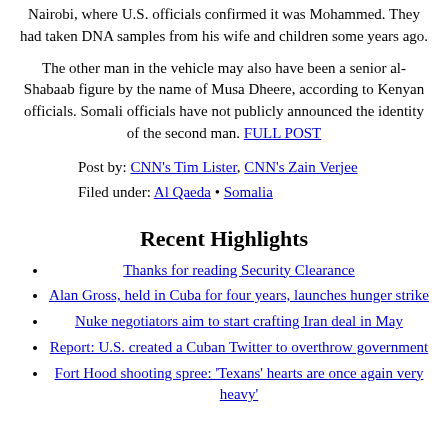Nairobi, where U.S. officials confirmed it was Mohammed. They had taken DNA samples from his wife and children some years ago.
The other man in the vehicle may also have been a senior al-Shabaab figure by the name of Musa Dheere, according to Kenyan officials. Somali officials have not publicly announced the identity of the second man. FULL POST
Post by: CNN's Tim Lister, CNN's Zain Verjee
Filed under: Al Qaeda • Somalia
Recent Highlights
Thanks for reading Security Clearance
Alan Gross, held in Cuba for four years, launches hunger strike
Nuke negotiators aim to start crafting Iran deal in May
Report: U.S. created a Cuban Twitter to overthrow government
Fort Hood shooting spree: 'Texans' hearts are once again very heavy'